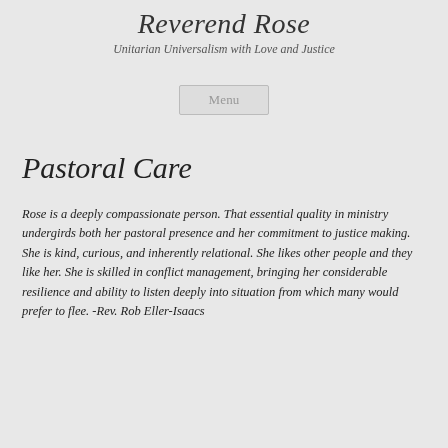Reverend Rose
Unitarian Universalism with Love and Justice
Menu
Pastoral Care
Rose is a deeply compassionate person.  That essential quality in ministry undergirds both her pastoral presence and her commitment to justice making.  She is kind, curious, and inherently relational.  She likes other people and they like her. She is skilled in conflict management, bringing her considerable resilience and ability to listen deeply into situation from which many would prefer to flee.  -Rev. Rob Eller-Isaacs